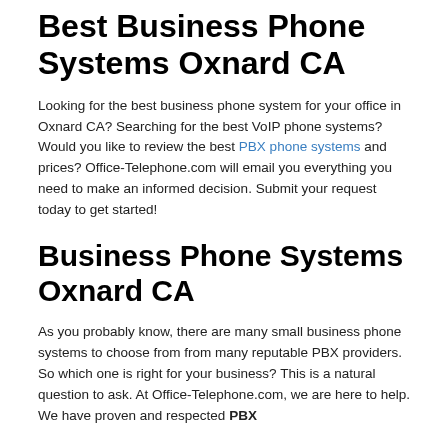Best Business Phone Systems Oxnard CA
Looking for the best business phone system for your office in Oxnard CA? Searching for the best VoIP phone systems? Would you like to review the best PBX phone systems and prices? Office-Telephone.com will email you everything you need to make an informed decision. Submit your request today to get started!
Business Phone Systems Oxnard CA
As you probably know, there are many small business phone systems to choose from from many reputable PBX providers. So which one is right for your business? This is a natural question to ask. At Office-Telephone.com, we are here to help. We have proven and respected PBX